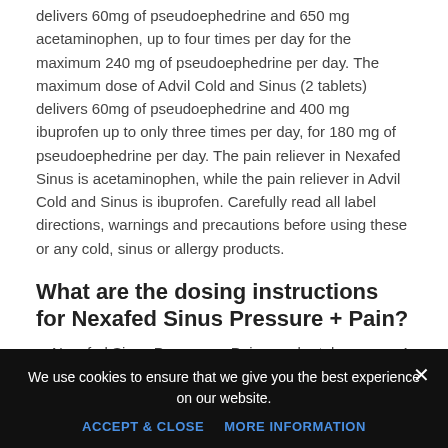delivers 60mg of pseudoephedrine and 650 mg acetaminophen, up to four times per day for the maximum 240 mg of pseudoephedrine per day. The maximum dose of Advil Cold and Sinus (2 tablets) delivers 60mg of pseudoephedrine and 400 mg ibuprofen up to only three times per day, for 180 mg of pseudoephedrine per day. The pain reliever in Nexafed Sinus is acetaminophen, while the pain reliever in Advil Cold and Sinus is ibuprofen. Carefully read all label directions, warnings and precautions before using these or any cold, sinus or allergy products.
What are the dosing instructions for Nexafed Sinus Pressure + Pain?
Nexafed Sinus Pressure + Pain may be taken every 4 to 6 hours, but not to exceed 4 doses in 24 hours
We use cookies to ensure that we give you the best experience on our website.